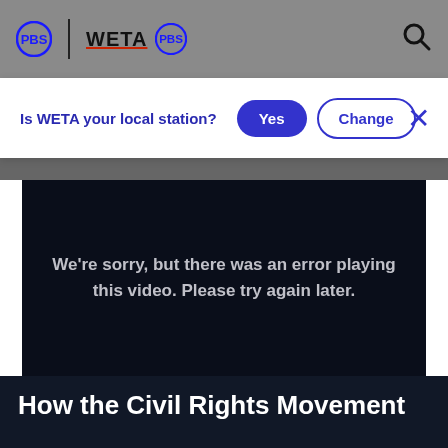[Figure (logo): PBS and WETA PBS logos in header navigation bar with search icon]
Is WETA your local station?
Yes
Change
[Figure (screenshot): Video player showing error message: We're sorry, but there was an error playing this video. Please try again later.]
How the Civil Rights Movement